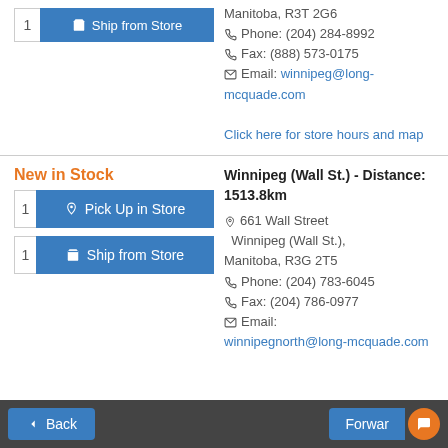Manitoba, R3T 2G6
Phone: (204) 284-8992
Fax: (888) 573-0175
Email: winnipeg@long-mcquade.com
Click here for store hours and map
New in Stock
Winnipeg (Wall St.) - Distance: 1513.8km
661 Wall Street Winnipeg (Wall St.), Manitoba, R3G 2T5
Phone: (204) 783-6045
Fax: (204) 786-0977
Email: winnipegnorth@long-mcquade.com
Back  Forward